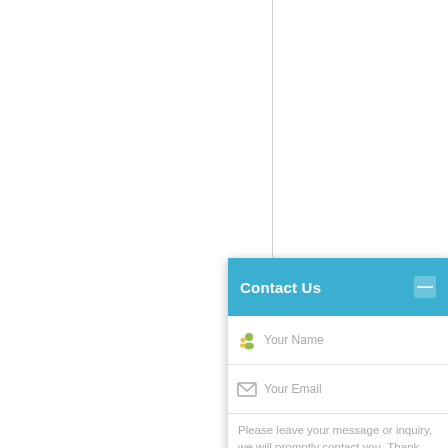[Figure (screenshot): Contact Us chat widget popup with header bar in blue, input fields for name and email, a message textarea, and a Send button. Background shows partial white webpage with a vertical divider line and partial gray disc/button elements.]
Contact Us
Your Name
Your Email
Please leave your message or inquiry, we will promptly contact you. Thank you!
Send